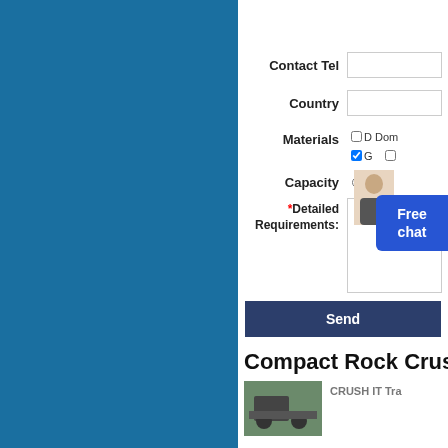[Figure (screenshot): Blue sidebar panel on the left side of the page, contact/inquiry form on the right with fields for Contact Tel, Country, Materials (checkboxes), Capacity (radio buttons), Detailed Requirements (textarea), and a Send button. A 'Free chat' button overlay appears on the right edge.]
Contact Tel
Country
Materials
Capacity
*Detailed Requirements:
Send
Compact Rock Crus
CRUSH IT Tra